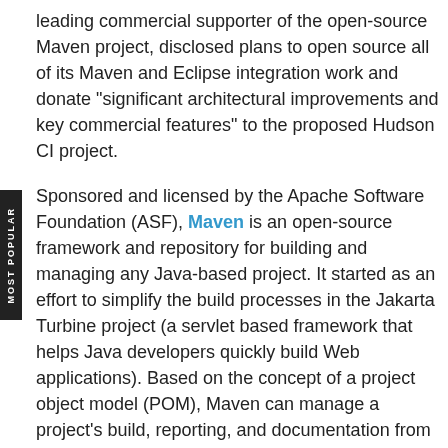leading commercial supporter of the open-source Maven project, disclosed plans to open source all of its Maven and Eclipse integration work and donate "significant architectural improvements and key commercial features" to the proposed Hudson CI project.
Sponsored and licensed by the Apache Software Foundation (ASF), Maven is an open-source framework and repository for building and managing any Java-based project. It started as an effort to simplify the build processes in the Jakarta Turbine project (a servlet based framework that helps Java developers quickly build Web applications). Based on the concept of a project object model (POM), Maven can manage a project's build, reporting, and documentation from a central piece of information. The project's goal today is to allow developers to comprehend the complete state of a development project in the shortest period of time. Sonatype is Maven's chief commercial sponsor.